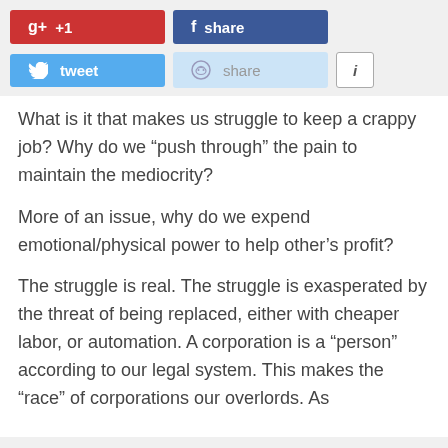[Figure (screenshot): Social sharing buttons: Google+ +1 (red), Facebook share (dark blue), Twitter tweet (light blue), Reddit share (pale blue), and an info button (white with border)]
What is it that makes us struggle to keep a crappy job? Why do we “push through” the pain to maintain the mediocrity?
More of an issue, why do we expend emotional/physical power to help other’s profit?
The struggle is real. The struggle is exasperated by the threat of being replaced, either with cheaper labor, or automation. A corporation is a “person” according to our legal system. This makes the “race” of corporations our overlords. As